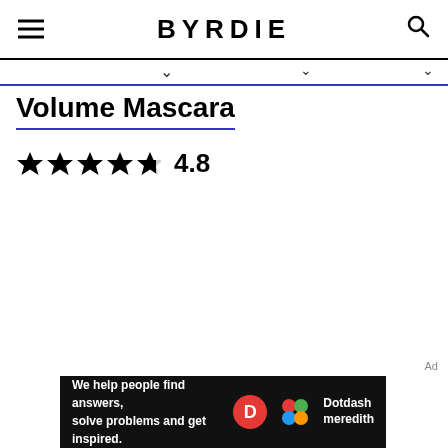BYRDIE
Volume Mascara
★★★★★ 4.8
Ad
We help people find answers, solve problems and get inspired. Dotdash meredith